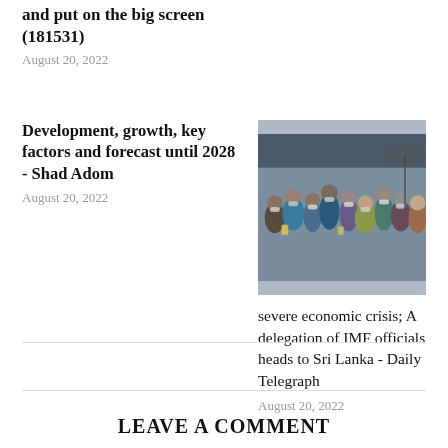and put on the big screen (181531)
August 20, 2022
Development, growth, key factors and forecast until 2028 - Shad Adom
August 20, 2022
[Figure (photo): A crowd of people wearing masks, likely waiting in a queue, outdoors.]
severe economic crisis; A delegation of IMF officials heads to Sri Lanka - Daily Telegraph
August 20, 2022
LEAVE A COMMENT